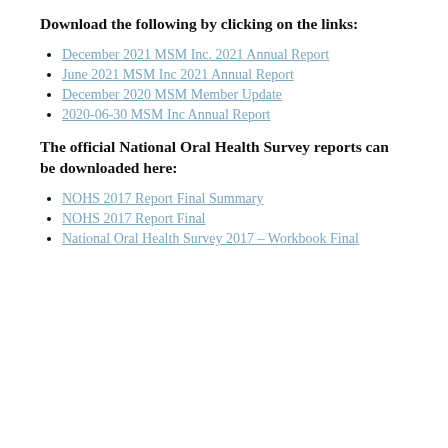Download the following by clicking on the links:
December 2021 MSM Inc. 2021 Annual Report
June 2021 MSM Inc 2021 Annual Report
December 2020 MSM Member Update
2020-06-30 MSM Inc Annual Report
The official National Oral Health Survey reports can be downloaded here:
NOHS 2017 Report Final Summary
NOHS 2017 Report Final
National Oral Health Survey 2017 – Workbook Final